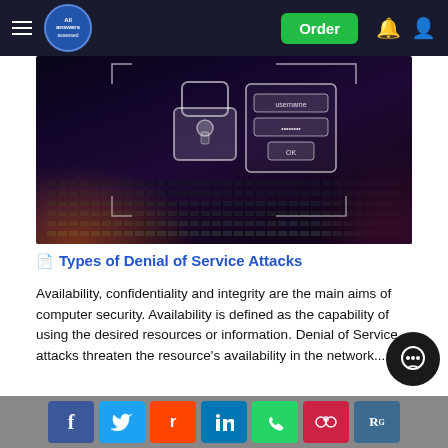All Answers — navigation bar with Order button
[Figure (photo): Hero image showing a laptop keyboard in dark/purple lighting with a holographic security UI showing a padlock, username field, password field (asterisks), and OK button, with a hand reaching toward the keys.]
Types of Denial of Service Attacks
Availability, confidentiality and integrity are the main aims of computer security. Availability is defined as the capability of using the desired resources or information. Denial of Service attacks threaten the resource's availability in the network....
Social share buttons: Facebook, Twitter, Reddit, LinkedIn, WhatsApp, Mendeley, ResearchGate